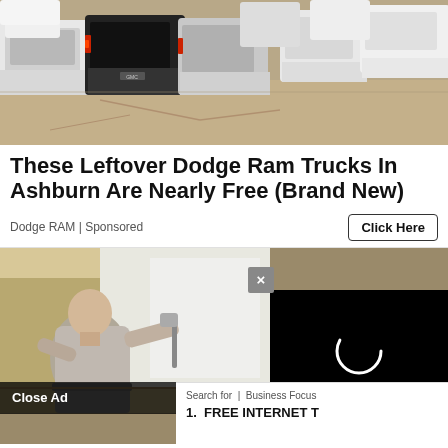[Figure (photo): Rows of pickup trucks (GMC Sierra and others) parked in a dealer lot, viewed from behind/side, mix of white, silver, and black trucks.]
These Leftover Dodge Ram Trucks In Ashburn Are Nearly Free (Brand New)
Dodge RAM | Sponsored
Click Here
[Figure (photo): A large man in a light gray t-shirt painting a wall with a roller, interior room with tan/beige walls. Overlaid with a video panel showing a dark screen with a circular loading icon, a close (X) button, a 'Close Ad' button, and a search bar with 'Search for | Business Focus' and '1. FREE INTERNET T']